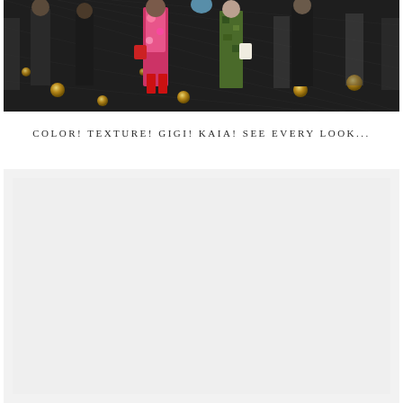[Figure (photo): Fashion runway photo showing models walking in colorful outfits including floral print, red boots, and camouflage pattern, on a dark runway with gold lamp decorations]
COLOR! TEXTURE! GIGI! KAIA! SEE EVERY LOOK...
[Figure (photo): Second fashion runway or editorial photo, appears lighter/washed out in a light gray tone]